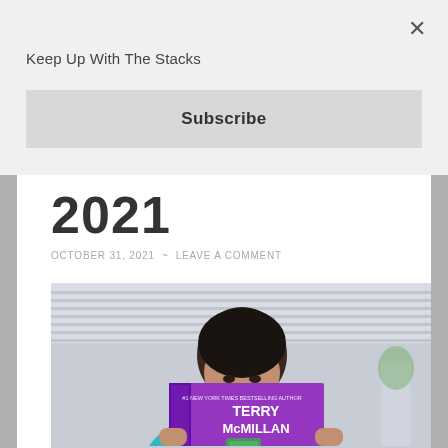Keep Up With The Stacks
Subscribe
2021
OCTOBER 31, 2021 ~ LEAVE A COMMENT
[Figure (photo): Person reading a Terry McMillan book, holding it up to their face. The book has a purple/magenta cover.]